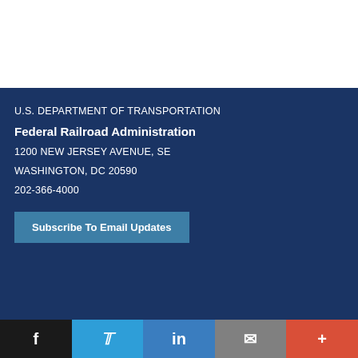U.S. DEPARTMENT OF TRANSPORTATION
Federal Railroad Administration
1200 NEW JERSEY AVENUE, SE
WASHINGTON, DC 20590
202-366-4000
Subscribe To Email Updates
f  Twitter  in  mail  +